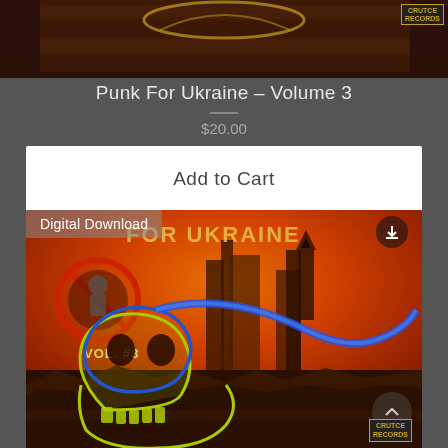[Figure (photo): Top portion of album cover art for Punk For Ukraine - Volume 3, showing partial artwork on dark background with Crutce Records logo in top right]
Punk For Ukraine – Volume 3
$20.00
Add to Cart
[Figure (photo): Album cover art for Punk For Ukraine Vol. #3 by Crutce Records. Features a skull with blue and yellow coloring (Ukrainian flag colors) against a burning orange cityscape background, with a no-symbol (circle with slash) and VOL. #3 text. 'Digital Download' label overlaid in top left corner with a download icon in top right.]